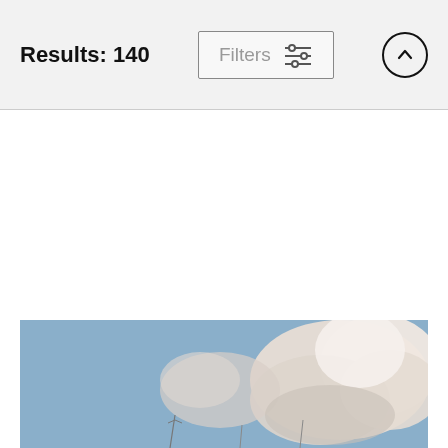Results: 140
Taaska
Randy Hall
$32
[Figure (photo): Outdoor sky photograph showing large fluffy cumulus clouds against a blue sky, with utility poles or structures visible at the bottom edge.]